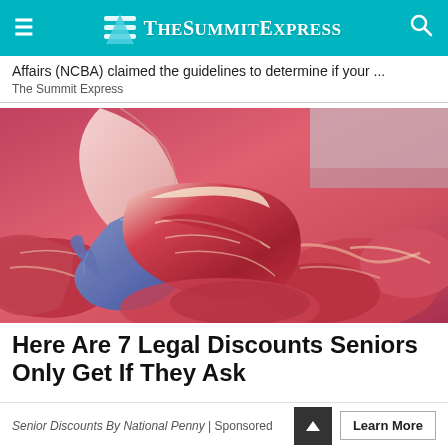TheSummitExpress
Affairs (NCBA) claimed the guidelines to determine if your ...
The Summit Express
[Figure (photo): A butcher wearing a blue glove holding a large cut of raw beef/meat at a butcher counter, with multiple cuts of red meat visible in the background.]
Here Are 7 Legal Discounts Seniors Only Get If They Ask
Senior Discounts By National Penny | Sponsored